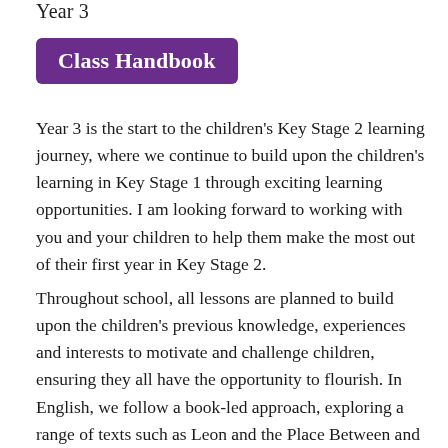Year 3
Class Handbook
Year 3 is the start to the children's Key Stage 2 learning journey, where we continue to build upon the children's learning in Key Stage 1 through exciting learning opportunities. I am looking forward to working with you and your children to help them make the most out of their first year in Key Stage 2.
Throughout school, all lessons are planned to build upon the children's previous knowledge, experiences and interests to motivate and challenge children, ensuring they all have the opportunity to flourish. In English, we follow a book-led approach, exploring a range of texts such as Leon and the Place Between and The Day War Came, which I am sure your children will love. Our mastery curriculum in maths